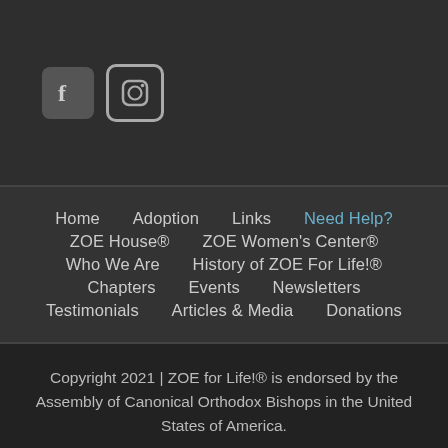[Figure (logo): Facebook and Instagram social media icon buttons on dark background]
Home
Adoption
Links
Need Help?
ZOE House®
ZOE Women's Center®
Who We Are
History of ZOE For Life!®
Chapters
Events
Newsletters
Testimonials
Articles & Media
Donations
Copyright 2021 | ZOE for Life!® is endorsed by the Assembly of Canonical Orthodox Bishops in the United States of America.